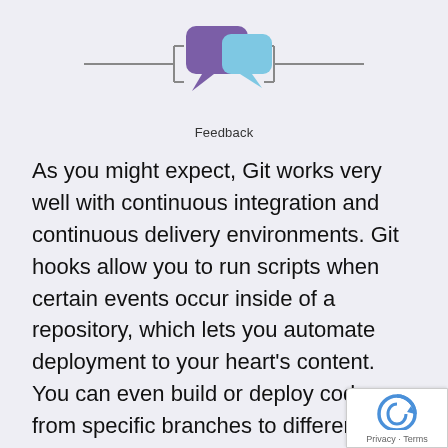[Figure (illustration): Two speech bubble icons (purple and light blue/cyan) at top center with horizontal lines on either side, representing a Feedback node in a diagram]
Feedback
As you might expect, Git works very well with continuous integration and continuous delivery environments. Git hooks allow you to run scripts when certain events occur inside of a repository, which lets you automate deployment to your heart's content. You can even build or deploy code from specific branches to different servers.
For example, you might want to configure Git to deploy the most recent commit from the develop branch to a test server